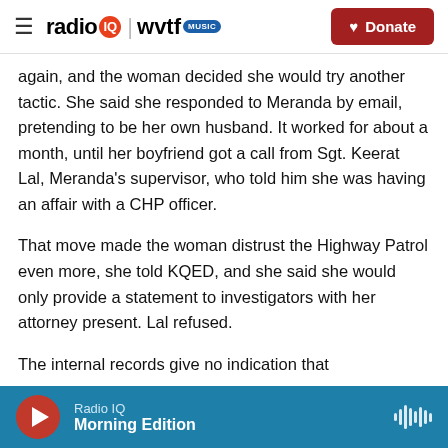radio IQ | wvtf MUSIC — Donate
again, and the woman decided she would try another tactic. She said she responded to Meranda by email, pretending to be her own husband. It worked for about a month, until her boyfriend got a call from Sgt. Keerat Lal, Meranda's supervisor, who told him she was having an affair with a CHP officer.
That move made the woman distrust the Highway Patrol even more, she told KQED, and she said she would only provide a statement to investigators with her attorney present. Lal refused.
The internal records give no indication that
Radio IQ — Morning Edition